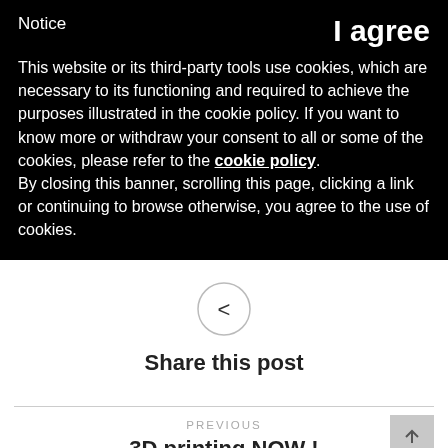Notice
I agree
This website or its third-party tools use cookies, which are necessary to its functioning and required to achieve the purposes illustrated in the cookie policy. If you want to know more or withdraw your consent to all or some of the cookies, please refer to the cookie policy.
By closing this banner, scrolling this page, clicking a link or continuing to browse otherwise, you agree to the use of cookies.
[Figure (illustration): Share icon: a less-than sign inside a circle]
Share this post
PREVIOUS
3D printing NOW !